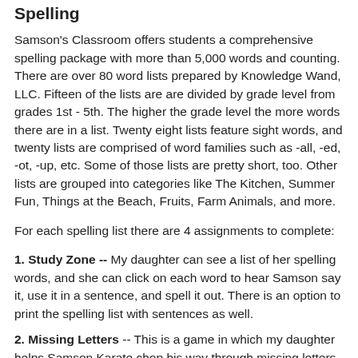Spelling
Samson's Classroom offers students a comprehensive spelling package with more than 5,000 words and counting. There are over 80 word lists prepared by Knowledge Wand, LLC. Fifteen of the lists are are divided by grade level from grades 1st - 5th. The higher the grade level the more words there are in a list. Twenty eight lists feature sight words, and twenty lists are comprised of word families such as -all, -ed, -ot, -up, etc. Some of those lists are pretty short, too. Other lists are grouped into categories like The Kitchen, Summer Fun, Things at the Beach, Fruits, Farm Animals, and more.
For each spelling list there are 4 assignments to complete:
1. Study Zone -- My daughter can see a list of her spelling words, and she can click on each word to hear Samson say it, use it in a sentence, and spell it out. There is an option to print the spelling list with sentences as well.
2. Missing Letters -- This is a game in which my daughter helps Samson Karate chop his way through missing letters. If ...